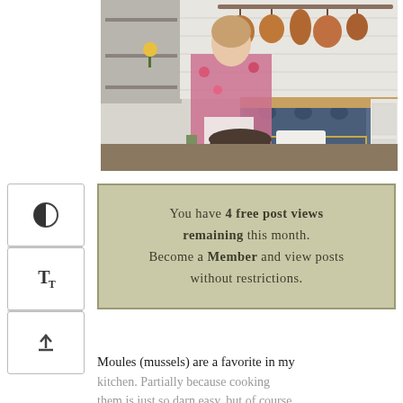[Figure (photo): Woman cooking in a kitchen with copper pans hanging on the wall, blue range stove, white subway tile backsplash, mixing ingredients in a bowl on a butcher block counter]
You have 4 free post views remaining this month. Become a Member and view posts without restrictions.
Moules (mussels) are a favorite in my kitchen. Partially because cooking them is just so darn easy, but of course,